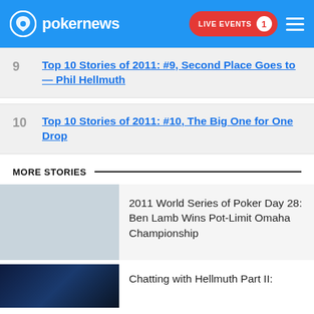pokernews | LIVE EVENTS 1
9 Top 10 Stories of 2011: #9, Second Place Goes to — Phil Hellmuth
10 Top 10 Stories of 2011: #10, The Big One for One Drop
MORE STORIES
2011 World Series of Poker Day 28: Ben Lamb Wins Pot-Limit Omaha Championship
Chatting with Hellmuth Part II: